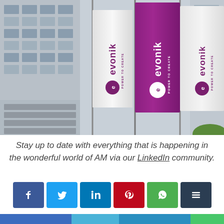[Figure (photo): Evonik branded flags (white and purple) hanging outside a modern glass office building. Three flags visible showing the Evonik logo and 'POWER TO CREATE' tagline.]
Stay up to date with everything that is happening in the wonderful world of AM via our LinkedIn community.
[Figure (infographic): Row of six social media share buttons: Facebook, Twitter, LinkedIn, Pinterest, WhatsApp, Buffer]